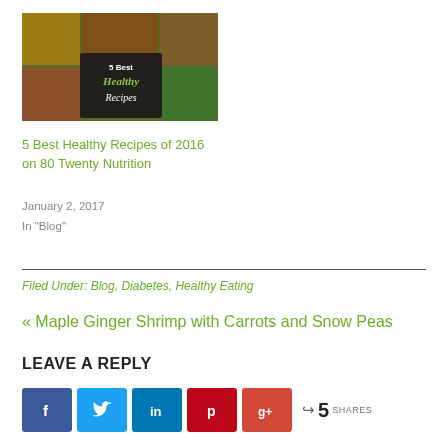[Figure (photo): Food collage image with dark chalkboard overlay reading '5 Best Healthy Recipes' in script font]
5 Best Healthy Recipes of 2016 on 80 Twenty Nutrition
January 2, 2017
In "Blog"
Filed Under: Blog, Diabetes, Healthy Eating
« Maple Ginger Shrimp with Carrots and Snow Peas
LEAVE A REPLY
[Figure (infographic): Social share buttons: Facebook (blue), Twitter (light blue), LinkedIn (blue), Pinterest (red), Google+ (orange-red), with share count showing 5 SHARES]